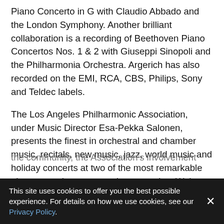Piano Concerto in G with Claudio Abbado and the London Symphony. Another brilliant collaboration is a recording of Beethoven Piano Concertos Nos. 1 & 2 with Giuseppi Sinopoli and the Philharmonia Orchestra. Argerich has also recorded on the EMI, RCA, CBS, Philips, Sony and Teldec labels.
The Los Angeles Philharmonic Association, under Music Director Esa-Pekka Salonen, presents the finest in orchestral and chamber music, recitals, new music, jazz, world music and holiday concerts at two of the most remarkable places anywhere to experience music – Walt Disney Concert Hall and the Hollywood Bowl. In addition to a 30-week winter subscription season at Walt Disney Concert Hall, the LA Phil presents a 12-week summer festival at the legendary Hollywood Bowl, summer home
the community, the Association's involvement with Los
This site uses cookies to offer you the best possible experience. For details on how we use cookies, see our Privacy Policy.